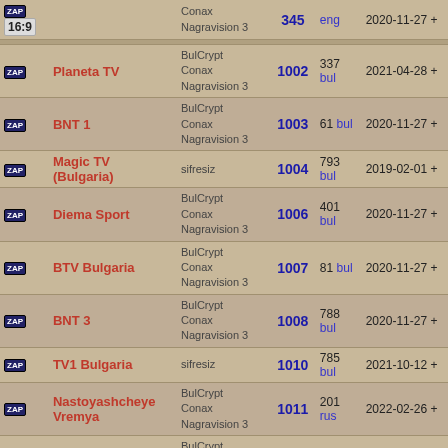| Icon | Channel | Encryption | SID | PID/Lang | Date |
| --- | --- | --- | --- | --- | --- |
| [ZAP] 16:9 |  | Conax
Nagravision 3 | 345 | eng | 2020-11-27 + |
| [ZAP] | Planeta TV | BulCrypt
Conax
Nagravision 3 | 1002 | 337
bul | 2021-04-28 + |
| [ZAP] | BNT 1 | BulCrypt
Conax
Nagravision 3 | 1003 | 61 bul | 2020-11-27 + |
| [ZAP] | Magic TV (Bulgaria) | sifresiz | 1004 | 793
bul | 2019-02-01 + |
| [ZAP] | Diema Sport | BulCrypt
Conax
Nagravision 3 | 1006 | 401
bul | 2020-11-27 + |
| [ZAP] | BTV Bulgaria | BulCrypt
Conax
Nagravision 3 | 1007 | 81 bul | 2020-11-27 + |
| [ZAP] | BNT 3 | BulCrypt
Conax
Nagravision 3 | 1008 | 788
bul | 2020-11-27 + |
| [ZAP] | TV1 Bulgaria | sifresiz | 1010 | 785
bul | 2021-10-12 + |
| [ZAP] | Nastoyashcheye Vremya | BulCrypt
Conax
Nagravision 3 | 1011 | 201
rus | 2022-02-26 + |
| [ZAP] | Nova TV | BulCrypt
Conax
Nagravision 3 | 1012 | 145
bul | 2021-04-28 + |
| [ZAP] | Kino Nova | BulCrypt
Conax
Nagravision 3 | 1013 | 273
bul | 2021-04-28 + |
| [ZAP] | Hobby TV | BulCrypt
Conax | 1014 | 721
bul | 2020-11-27 + |